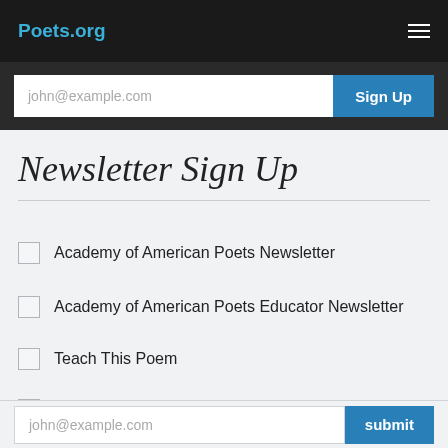Poets.org
john@example.com
Sign Up
Newsletter Sign Up
Academy of American Poets Newsletter
Academy of American Poets Educator Newsletter
Teach This Poem
Poem-a-Day
john@example.com
submit